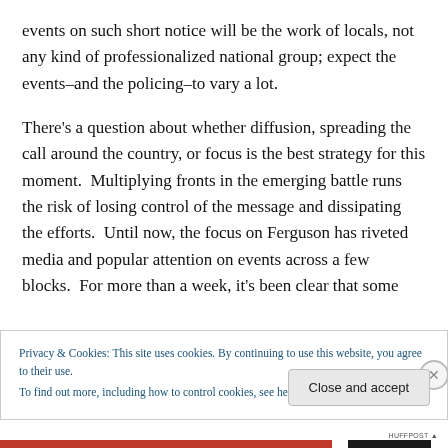events on such short notice will be the work of locals, not any kind of professionalized national group; expect the events–and the policing–to vary a lot.
There's a question about whether diffusion, spreading the call around the country, or focus is the best strategy for this moment.  Multiplying fronts in the emerging battle runs the risk of losing control of the message and dissipating the efforts.  Until now, the focus on Ferguson has riveted media and popular attention on events across a few blocks.  For more than a week, it's been clear that some
Privacy & Cookies: This site uses cookies. By continuing to use this website, you agree to their use.
To find out more, including how to control cookies, see here: Cookie Policy